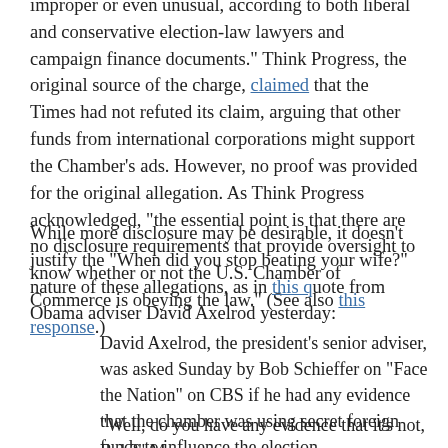improper or even unusual, according to both liberal and conservative election-law lawyers and campaign finance documents." Think Progress, the original source of the charge, claimed that the Times had not refuted its claim, arguing that other funds from international corporations might support the Chamber's ads. However, no proof was provided for the original allegation. As Think Progress acknowledged, "the essential point is that there are no disclosure requirements that provide oversight to know whether or not the U.S. Chamber of Commerce is obeying the law." (See also this response.)
While more disclosure may be desirable, it doesn't justify the "When did you stop beating your wife?" nature of these allegations, as in this quote from Obama adviser David Axelrod yesterday:
David Axelrod, the president's senior adviser, was asked Sunday by Bob Schieffer on “Face the Nation” on CBS if he had any evidence that the chamber was using secret foreign funds to influence the election.
“Well, do you have any evidence that it’s not, Bob?” Mr.